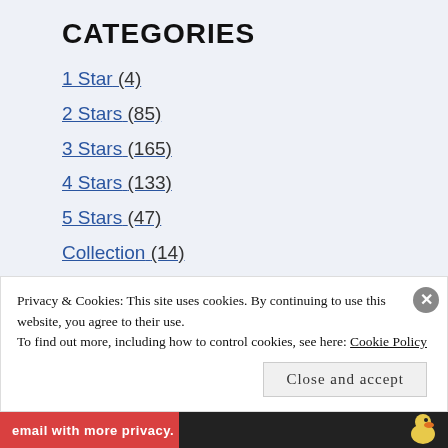CATEGORIES
1 Star (4)
2 Stars (85)
3 Stars (165)
4 Stars (133)
5 Stars (47)
Collection (14)
Comics (76)
Crime (30)
Privacy & Cookies: This site uses cookies. By continuing to use this website, you agree to their use. To find out more, including how to control cookies, see here: Cookie Policy
Close and accept
email with more privacy.